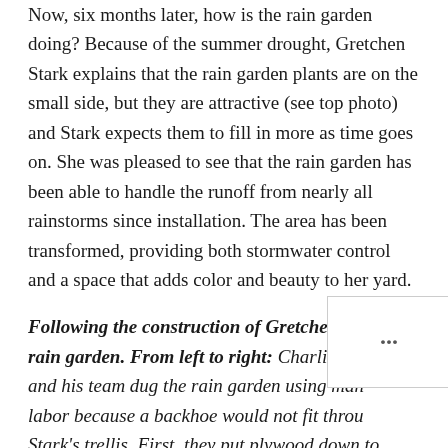Now, six months later, how is the rain garden doing? Because of the summer drought, Gretchen Stark explains that the rain garden plants are on the small side, but they are attractive (see top photo) and Stark expects them to fill in more as time goes on. She was pleased to see that the rain garden has been able to handle the runoff from nearly all rainstorms since installation. The area has been transformed, providing both stormwater control and a space that adds color and beauty to her yard.
Following the construction of Gretchen Stark's rain garden. From left to right: Charlie Cuevas and his team dug the rain garden using manual labor because a backhoe would not fit through Stark's trellis. First, they put plywood down to